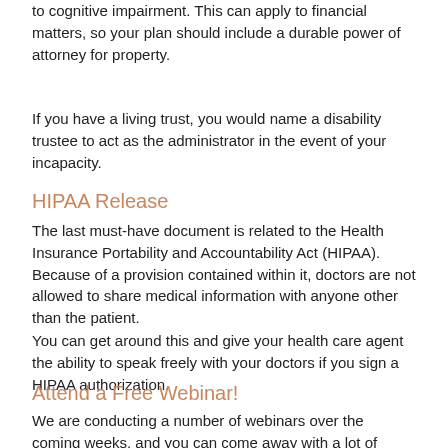to cognitive impairment. This can apply to financial matters, so your plan should include a durable power of attorney for property.
If you have a living trust, you would name a disability trustee to act as the administrator in the event of your incapacity.
HIPAA Release
The last must-have document is related to the Health Insurance Portability and Accountability Act (HIPAA). Because of a provision contained within it, doctors are not allowed to share medical information with anyone other than the patient.
You can get around this and give your health care agent the ability to speak freely with your doctors if you sign a HIPAA authorization.
Attend a Free Webinar!
We are conducting a number of webinars over the coming weeks, and you can come away with a lot of information if you join us for one of these sessions. There is no charge, but we ask that you register in advance so we can reserve your spot.